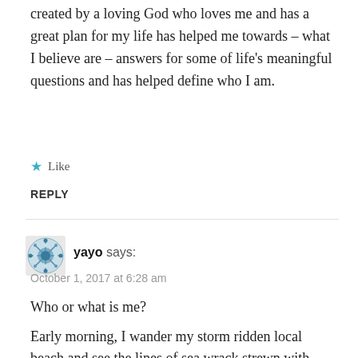created by a loving God who loves me and has a great plan for my life has helped me towards – what I believe are – answers for some of life's meaningful questions and has helped define who I am.
★  Like
REPLY
yayo says:
October 1, 2017 at 6:28 am
Who or what is me?
Early morning, I wander my storm ridden local beach and see the lines of sea wrack strewn with dead and dying bluebottles. Helplessly subject to the whim of the wind and current, these primitive, yet complex colonies of interdependent marine life